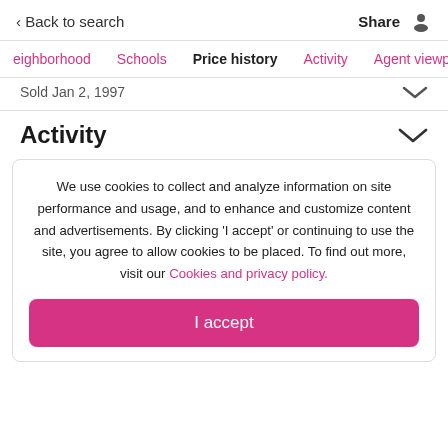< Back to search  Share
eighborhood  Schools  Price history  Activity  Agent viewp
Sold Jan 2, 1997
Activity
We use cookies to collect and analyze information on site performance and usage, and to enhance and customize content and advertisements. By clicking 'I accept' or continuing to use the site, you agree to allow cookies to be placed. To find out more, visit our Cookies and privacy policy.
I accept